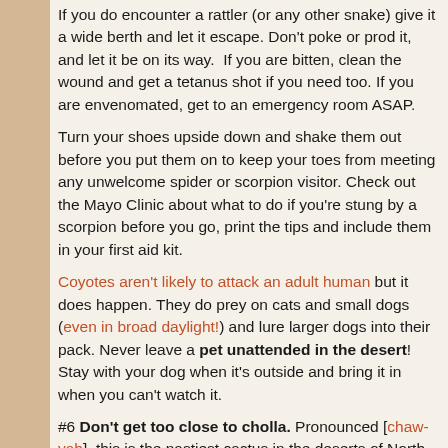If you do encounter a rattler (or any other snake) give it a wide berth and let it escape. Don't poke or prod it, and let it be on its way. If you are bitten, clean the wound and get a tetanus shot if you need too. If you are envenomated, get to an emergency room ASAP.
Turn your shoes upside down and shake them out before you put them on to keep your toes from meeting any unwelcome spider or scorpion visitor. Check out the Mayo Clinic about what to do if you're stung by a scorpion before you go, print the tips and include them in your first aid kit.
Coyotes aren't likely to attack an adult human but it does happen. They do prey on cats and small dogs (even in broad daylight!) and lure larger dogs into their pack. Never leave a pet unattended in the desert! Stay with your dog when it's outside and bring it in when you can't watch it.
#6 Don't get too close to cholla. Pronounced [chaw-yah], this is the nastiest cactus in the deserts of North America. The joints of this cactus are attached very loosely and will easily attach to a person or dog who brushed by. The joints are full of spines, and if you touch them, you're likely to be full of spines too!
Keep inquisitive dogs away from cholla. When a dog tries to